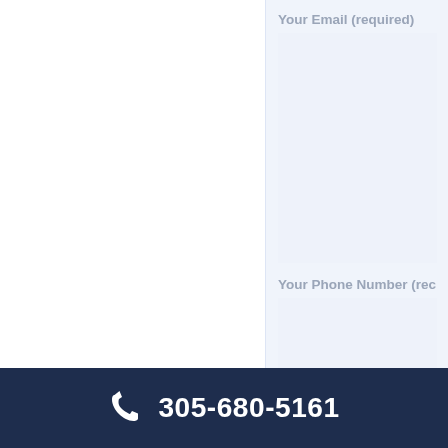Your Email (required)
Your Phone Number (required)
FREE CONSULTATION
Our Services
305-680-5161